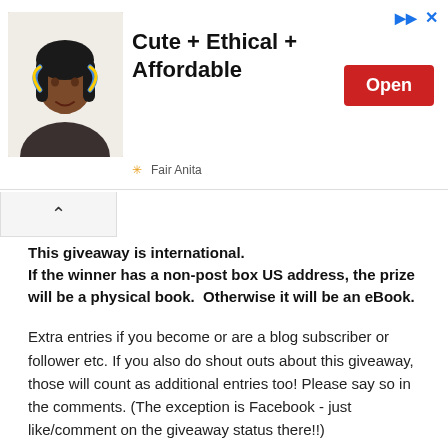[Figure (other): Advertisement banner for Fair Anita showing a woman with colorful earrings. Text reads 'Cute + Ethical + Affordable' with an 'Open' button in red.]
This giveaway is international. If the winner has a non-post box US address, the prize will be a physical book.  Otherwise it will be an eBook.
Extra entries if you become or are a blog subscriber or follower etc. If you also do shout outs about this giveaway, those will count as additional entries too! Please say so in the comments. (The exception is Facebook - just like/comment on the giveaway status there!!)